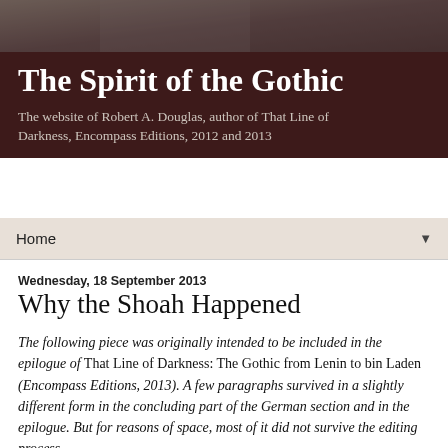[Figure (photo): Grayscale photograph used as background for the website header area, dark tones]
The Spirit of the Gothic
The website of Robert A. Douglas, author of That Line of Darkness, Encompass Editions, 2012 and 2013
Home ▼
Wednesday, 18 September 2013
Why the Shoah Happened
The following piece was originally intended to be included in the epilogue of That Line of Darkness: The Gothic from Lenin to bin Laden (Encompass Editions, 2013). A few paragraphs survived in a slightly different form in the concluding part of the German section and in the epilogue. But for reasons of space, most of it did not survive the editing process.
The unfolding of these monstrously criminal actions that killed